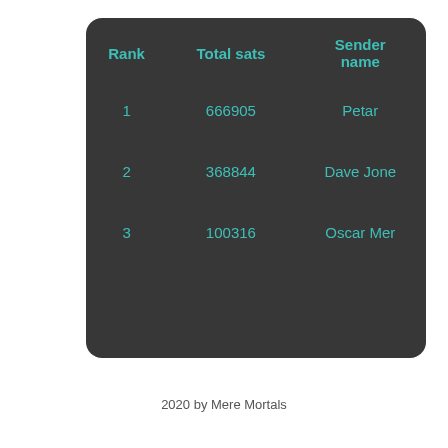| Rank | Total sats | Sender name |
| --- | --- | --- |
| 1 | 666905 | Petar |
| 2 | 368844 | Dave Jone |
| 3 | 100316 | Oscar Mer |
2020 by Mere Mortals